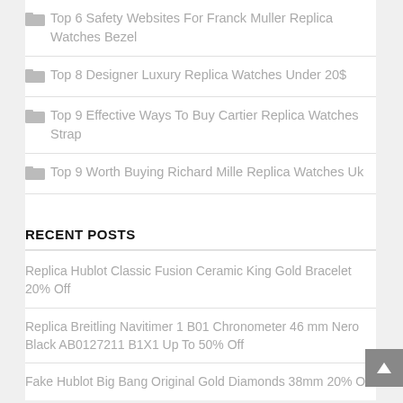Top 6 Safety Websites For Franck Muller Replica Watches Bezel
Top 8 Designer Luxury Replica Watches Under 20$
Top 9 Effective Ways To Buy Cartier Replica Watches Strap
Top 9 Worth Buying Richard Mille Replica Watches Uk
RECENT POSTS
Replica Hublot Classic Fusion Ceramic King Gold Bracelet 20% Off
Replica Breitling Navitimer 1 B01 Chronometer 46 mm Nero Black AB0127211 B1X1 Up To 50% Off
Fake Hublot Big Bang Original Gold Diamonds 38mm 20% Off